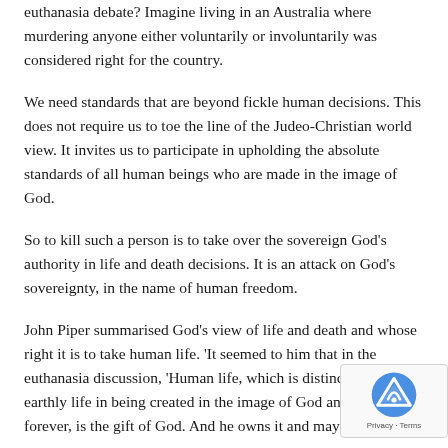euthanasia debate? Imagine living in an Australia where murdering anyone either voluntarily or involuntarily was considered right for the country.
We need standards that are beyond fickle human decisions. This does not require us to toe the line of the Judeo-Christian world view. It invites us to participate in upholding the absolute standards of all human beings who are made in the image of God.
So to kill such a person is to take over the sovereign God’s authority in life and death decisions. It is an attack on God’s sovereignty, in the name of human freedom.
John Piper summarised God’s view of life and death and whose right it is to take human life. ‘It seemed to him that in the euthanasia discussion, ‘Human life, which is distinct from a earthly life in being created in the image of God and desig exist forever, is the gift of God. And he owns it and may do with it